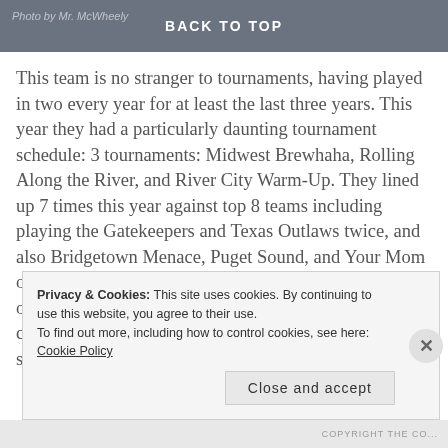Photo by Mr. McWheely | BACK TO TOP
This team is no stranger to tournaments, having played in two every year for at least the last three years. This year they had a particularly daunting tournament schedule: 3 tournaments: Midwest Brewhaha, Rolling Along the River, and River City Warm-Up. They lined up 7 times this year against top 8 teams including playing the Gatekeepers and Texas Outlaws twice, and also Bridgetown Menace, Puget Sound, and Your Mom on top of an additional 5 sanctioned games. Since TC obviously has had Champs on their mind, this highly challenging season had to be chosen by design for solidification of team work and to test nerves
Privacy & Cookies: This site uses cookies. By continuing to use this website, you agree to their use.
To find out more, including how to control cookies, see here: Cookie Policy
Close and accept